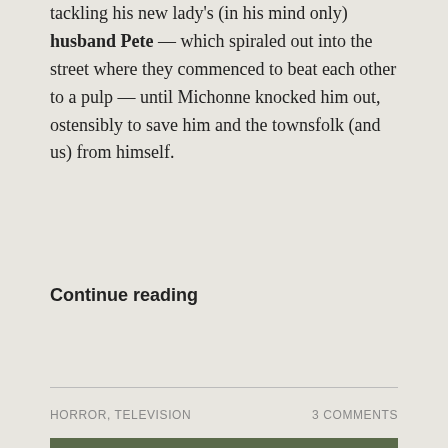tackling his new lady's (in his mind only) husband Pete — which spiraled out into the street where they commenced to beat each other to a pulp — until Michonne knocked him out, ostensibly to save him and the townsfolk (and us) from himself.
Continue reading
HORROR, TELEVISION    3 COMMENTS
[Figure (photo): Two men fighting in a wooded outdoor setting. One man on the left wearing a brown jacket appears to be punching or grappling with a second man on the right who has dark hair and blood on his face, reeling from an impact.]